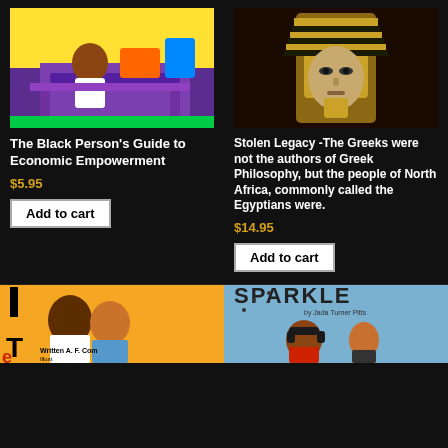[Figure (photo): Book cover: The Black Person's Guide to Economic Empowerment - colorful illustration with purple desk scene]
[Figure (photo): Book cover: Stolen Legacy - Egyptian pharaoh golden mask on dark background]
The Black Person's Guide to Economic Empowerment
$5.95
Add to cart
Stolen Legacy -The Greeks were not the authors of Greek Philosophy, but the people of North Africa, commonly called the Egyptians were.
$14.95
Add to cart
[Figure (photo): Book cover: children's book with orange background and illustrated children]
[Figure (photo): Book cover: SPARKLE by Jada Turner Pitts - blue background with illustrated girl character]